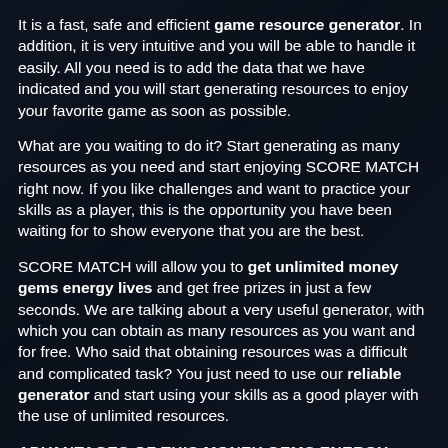It is a fast, safe and efficient game resource generator. In addition, it is very intuitive and you will be able to handle it easily. All you need is to add the data that we have indicated and you will start generating resources to enjoy your favorite game as soon as possible.
What are you waiting to do it? Start generating as many resources as you need and start enjoying SCORE MATCH right now. If you like challenges and want to practice your skills as a player, this is the opportunity you have been waiting for to show everyone that you are the best.
SCORE MATCH will allow you to get unlimited money gems energy lives and get free prizes in just a few seconds. We are talking about a very useful generator, with which you can obtain as many resources as you want and for free. Who said that obtaining resources was a difficult and complicated task? You just need to use our reliable generator and start using your skills as a good player with the use of unlimited resources.
ADVANTAGES OF THIS MONEY GEMS ENERGY LIVES